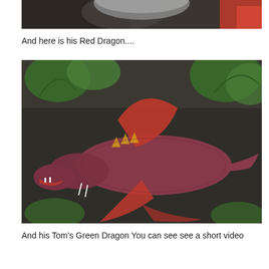[Figure (photo): Top portion of a photo showing objects on a dark surface, partially cropped]
And here is his Red Dragon....
[Figure (photo): A red dragon toy/figurine with wings spread, lying on a ground covered with ferns and dry leaves]
And his Tom's Green Dragon  You can see see a short video